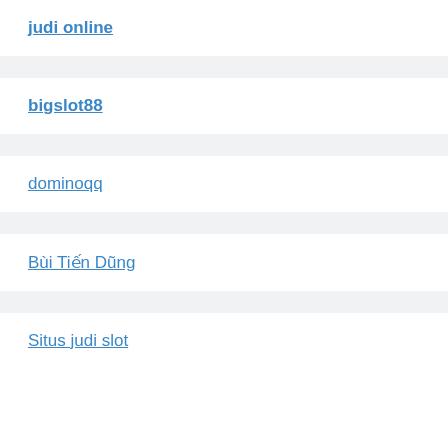judi online
bigslot88
dominoqq
Bùi Tiến Dũng
Situs judi slot